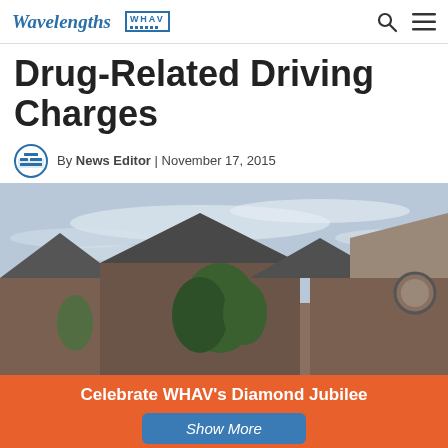Wavelengths | WHAV
Drug-Related Driving Charges
By News Editor | November 17, 2015
[Figure (photo): Exterior photo of a building with gabled rooflines against a partly cloudy sky, with trees in the foreground.]
Celebrate WHAV's Diamond Jubilee
Show More